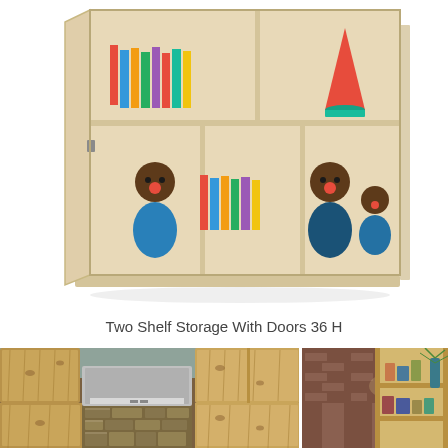[Figure (photo): A light wood storage cabinet with two shelves and one door open on the left, showing shelves with children's books, colorful toys (dolls in blue outfits), and a red cone on the top right shelf.]
Two Shelf Storage With Doors 36 H
[Figure (photo): Two photos side by side of wood cabinetry: left shows rustic knotty wood kitchen cabinets with a range hood and stone backsplash; right shows open wood wall shelving with decorative items and a pendant lamp.]